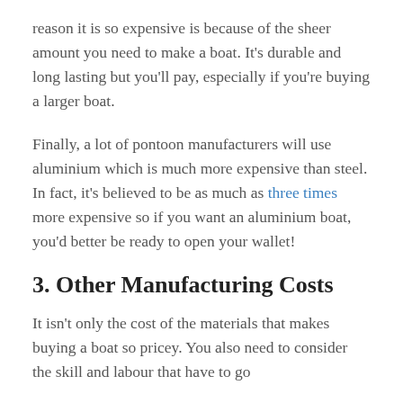reason it is so expensive is because of the sheer amount you need to make a boat. It's durable and long lasting but you'll pay, especially if you're buying a larger boat.
Finally, a lot of pontoon manufacturers will use aluminium which is much more expensive than steel. In fact, it's believed to be as much as three times more expensive so if you want an aluminium boat, you'd better be ready to open your wallet!
3. Other Manufacturing Costs
It isn't only the cost of the materials that makes buying a boat so pricey. You also need to consider the skill and labour that have to go